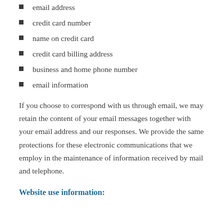email address
credit card number
name on credit card
credit card billing address
business and home phone number
email information
If you choose to correspond with us through email, we may retain the content of your email messages together with your email address and our responses. We provide the same protections for these electronic communications that we employ in the maintenance of information received by mail and telephone.
Website use information: